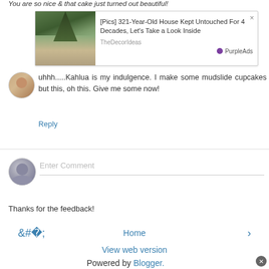You are so nice & that cake just turned out beautiful!
[Figure (screenshot): Advertisement banner with image of a snowy tree-lined road path leading to a gate. Ad text: [Pics] 321-Year-Old House Kept Untouched For 4 Decades, Let's Take a Look Inside. Source: TheDecorIdeas. Brand: PurpleAds.]
uhhh.....Kahlua is my indulgence. I make some mudslide cupcakes but this, oh this. Give me some now!
Reply
Enter Comment
Thanks for the feedback!
Home
View web version
Powered by Blogger.